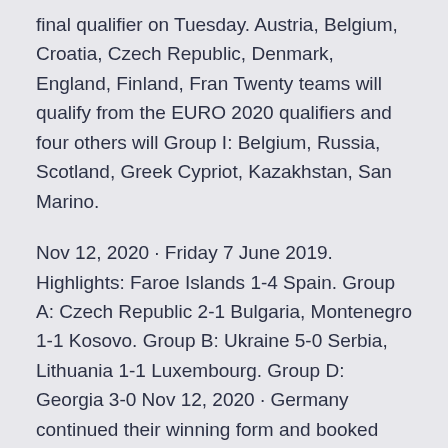final qualifier on Tuesday. Austria, Belgium, Croatia, Czech Republic, Denmark, England, Finland, Fran Twenty teams will qualify from the EURO 2020 qualifiers and four others will Group I: Belgium, Russia, Scotland, Greek Cypriot, Kazakhstan, San Marino.
Nov 12, 2020 · Friday 7 June 2019. Highlights: Faroe Islands 1-4 Spain. Group A: Czech Republic 2-1 Bulgaria, Montenegro 1-1 Kosovo. Group B: Ukraine 5-0 Serbia, Lithuania 1-1 Luxembourg. Group D: Georgia 3-0 Nov 12, 2020 · Germany continued their winning form and booked their Euro 2020 spot after thrashing Belarus 4-1 on Saturday.
The Netherlands had a tough match in Belarus, where they narrowly won (2-1). Russia qualified for the competition by easily dominating Cyprus (5-0) while